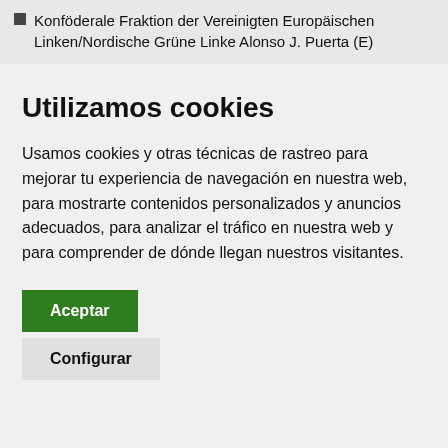Konföderale Fraktion der Vereinigten Europäischen Linken/Nordische Grüne Linke Alonso J. Puerta (E)
Utilizamos cookies
Usamos cookies y otras técnicas de rastreo para mejorar tu experiencia de navegación en nuestra web, para mostrarte contenidos personalizados y anuncios adecuados, para analizar el tráfico en nuestra web y para comprender de dónde llegan nuestros visitantes.
Aceptar
Configurar